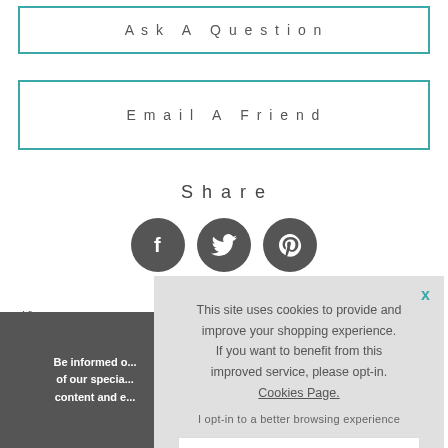Ask A Question
Email A Friend
Share
[Figure (other): Three social media icon buttons: Facebook (f), Twitter (bird), Pinterest (p) — dark grey circles]
‹ Vi...
This site uses cookies to provide and improve your shopping experience. If you want to benefit from this improved service, please opt-in. Cookies Page.

I opt-in to a better browsing experience
Accept Cookies
Be informed o... of our specia... content and e...